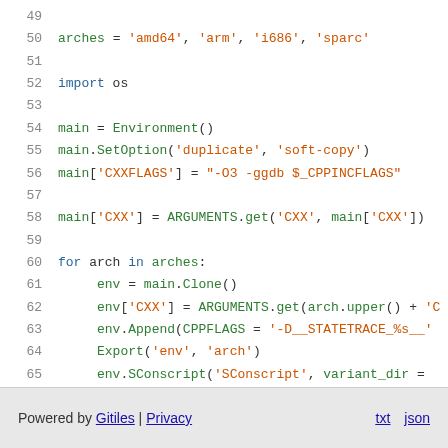[Figure (screenshot): Source code viewer showing Python/SCons build script lines 49-65 with syntax highlighting. Line 49 is blank. Line 50: arches = 'amd64', 'arm', 'i686', 'sparc'. Line 51 blank. Line 52: import os. Line 53 blank. Line 54: main = Environment(). Line 55: main.SetOption('duplicate', 'soft-copy'). Line 56: main['CXXFLAGS'] = "-O3 -ggdb $_CPPINCFLAGS". Line 57 blank. Line 58: main['CXX'] = ARGUMENTS.get('CXX', main['CXX']). Line 59 blank. Line 60: for arch in arches:. Line 61: env = main.Clone(). Line 62: env['CXX'] = ARGUMENTS.get(arch.upper() + '.... Line 63: env.Append(CPPFLAGS = '-D__STATETRACE_%s__'.... Line 64: Export('env', 'arch'). Line 65: env.SConscript('SConscript', variant_dir = ....]
Powered by Gitiles | Privacy    txt  json